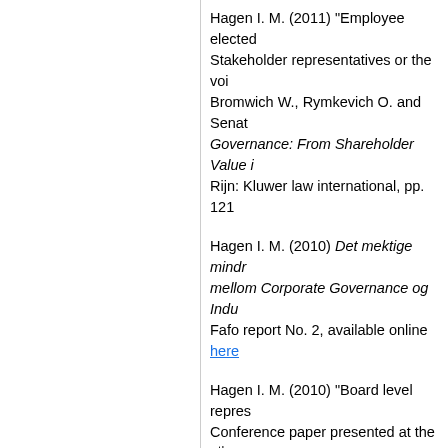Hagen I. M. (2011) “Employee elected board members: Stakeholder representatives or the voi… Bromwich W., Rymkevich O. and Senat… Governance: From Shareholder Value … Rijn: Kluwer law international, pp. 121…
Hagen I. M. (2010) Det mektige mindr… mellom Corporate Governance og Indu… Fafo report No. 2, available online here
Hagen I. M. (2010) “Board level repres… Conference paper presented at the 9th … July 2010, Copenhagen, available onli…
Hagen I. M. (2008) “Ansatte styrerepre… vi dem?”, Søkelys på arbeidslivet, Vol.
Hagen I. M. (2008) Ansatte i styret. St… available online here.
Hagen I. M. (2007) “Employee represe… ensuring productivity or democracy at…